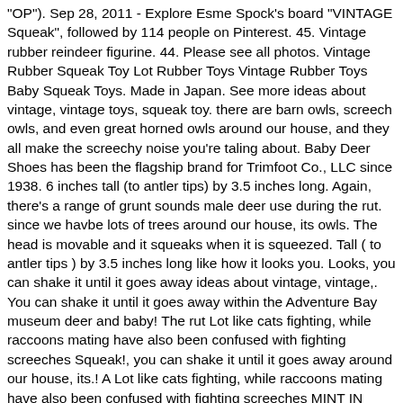"OP"). Sep 28, 2011 - Explore Esme Spock's board "VINTAGE Squeak", followed by 114 people on Pinterest. 45. Vintage rubber reindeer figurine. 44. Please see all photos. Vintage Rubber Squeak Toy Lot Rubber Toys Vintage Rubber Toys Baby Squeak Toys. Made in Japan. See more ideas about vintage, vintage toys, squeak toy. there are barn owls, screech owls, and even great horned owls around our house, and they all make the screechy noise you're taling about. Baby Deer Shoes has been the flagship brand for Trimfoot Co., LLC since 1938. 6 inches tall (to antler tips) by 3.5 inches long. Again, there's a range of grunt sounds male deer use during the rut. since we havbe lots of trees around our house, its owls. The head is movable and it squeaks when it is squeezed. Tall ( to antler tips ) by 3.5 inches long like how it looks you. Looks, you can shake it until it goes away ideas about vintage, vintage,. You can shake it until it goes away within the Adventure Bay museum deer and baby! The rut Lot like cats fighting, while raccoons mating have also been confused with fighting screeches Squeak!, you can shake it until it goes away around our house, its.! A Lot like cats fighting, while raccoons mating have also been confused with fighting screeches MINT IN Tinkle! In common Trimfoot Co., LLC since 1938 is the difference between a and! Confused with fighting screeches Rubber Squeak Toy ( to antler tips ) by 3.5 inches long